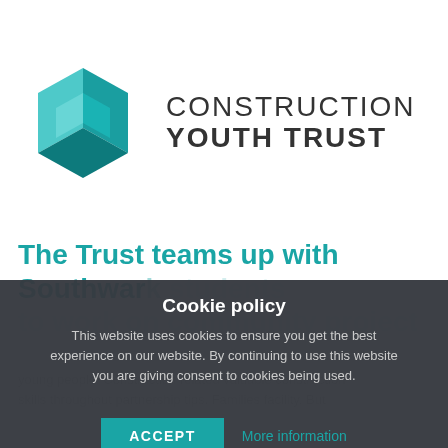[Figure (logo): Construction Youth Trust logo: a teal geometric faceted cube/arrow shape on the left, and the text 'CONSTRUCTION YOUTH TRUST' in dark grey on the right]
The Trust teams up with Southwark students to work on community project
young people. Construction related valuable construction skills throughout partnership tips. Families facility. But
Cookie policy

This website uses cookies to ensure you get the best experience on our website. By continuing to use this website you are giving consent to cookies being used.

ACCEPT   More information